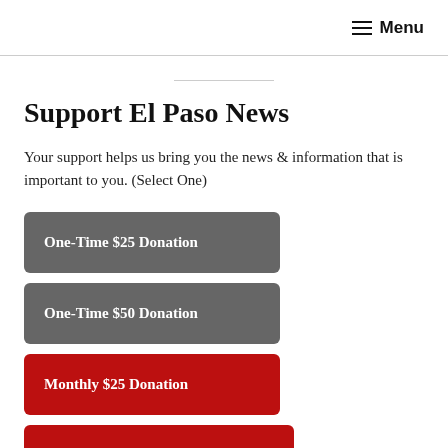≡ Menu
Support El Paso News
Your support helps us bring you the news & information that is important to you. (Select One)
One-Time $25 Donation
One-Time $50 Donation
Monthly $25 Donation
One-Time $100 Donation